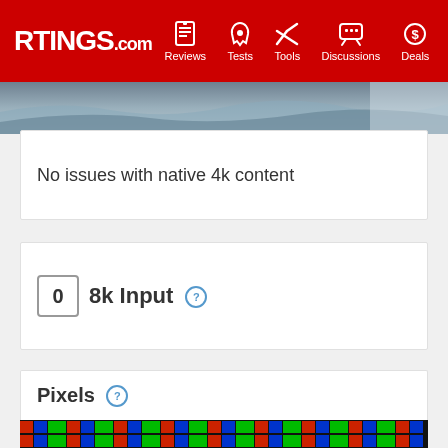RTINGS.com — Reviews, Tests, Tools, Discussions, Deals
[Figure (photo): Screenshot of native 4k content test image, partial view of ocean/wave photo]
No issues with native 4k content
0  8k Input ?
Pixels ?
[Figure (photo): Close-up macro photograph of LCD pixel structure showing red, blue, and green subpixels in rows]